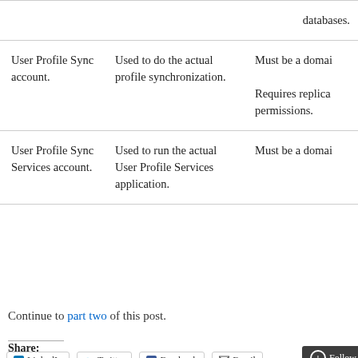| Account | Purpose | Requirements |
| --- | --- | --- |
| databases. |  |  |
| User Profile Sync account. | Used to do the actual profile synchronization. | Must be a domai… Requires replica… permissions. |
| User Profile Sync Services account. | Used to run the actual User Profile Services application. | Must be a domai… |
Continue to part two of this post.
Share: